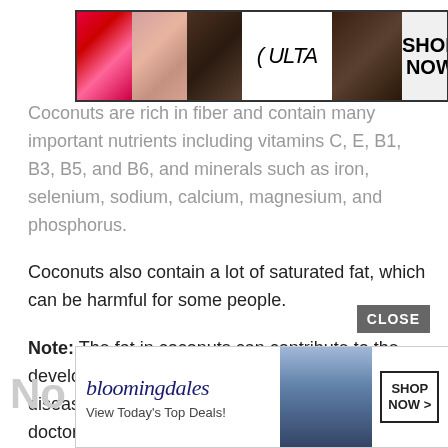[Figure (advertisement): Ulta Beauty advertisement banner showing makeup images (lips, brush, eye) and ULTA logo with SHOP NOW button]
Coconuts are rich in fiber and contain many important nutrients including vitamins C, E, B1, B3, B5, and B6, and minerals such as iron, selenium, sodium, calcium, magnesium, and phosphorus.
Coconuts also contain a lot of saturated fat, which can be harmful for some people.
Note: The fat in coconuts can contribute to the development of heart disease . If you have heart disease or risk factors for it, check with your doctor about consuming coconut-containing products.
[Figure (advertisement): Bloomingdale's advertisement banner with 'View Today's Top Deals!' text and SHOP NOW button, showing a woman in a blue hat]